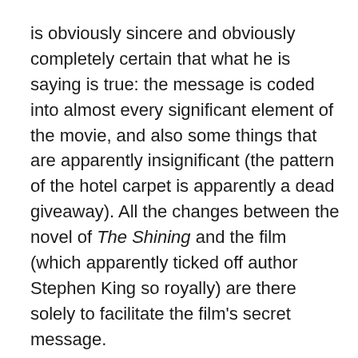is obviously sincere and obviously completely certain that what he is saying is true: the message is coded into almost every significant element of the movie, and also some things that are apparently insignificant (the pattern of the hotel carpet is apparently a dead giveaway). All the changes between the novel of The Shining and the film (which apparently ticked off author Stephen King so royally) are there solely to facilitate the film's secret message.
The rabbit hole starts to yawn wide. It's clear that Weidner not only thinks that the faked Apollo moon landings are connected to The Shining – he thinks that in a very crucial sense, it's impossible to make sense of and really understand the film unless you approach it with this in mind. Which, of course, can't be the case, because it is also obviously about the Holocaust, genocide, the legend